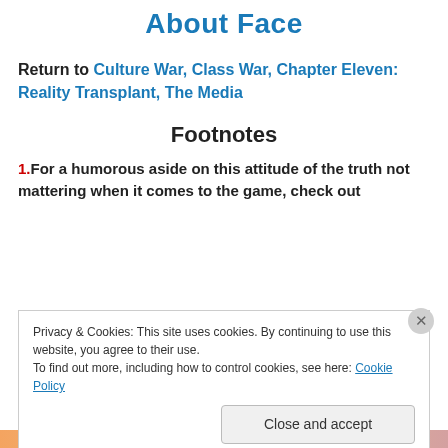About Face
Return to Culture War, Class War, Chapter Eleven: Reality Transplant, The Media
Footnotes
1. For a humorous aside on this attitude of the truth not mattering when it comes to the game, check out
Privacy & Cookies: This site uses cookies. By continuing to use this website, you agree to their use. To find out more, including how to control cookies, see here: Cookie Policy
Close and accept